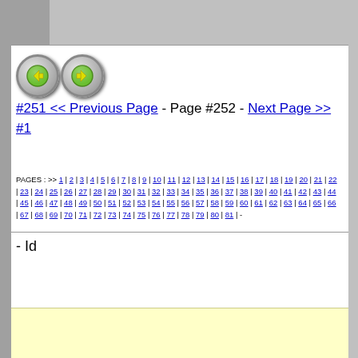[Figure (other): Navigation arrows: left arrow button (back) and right arrow button (forward), styled as green circular buttons with yellow arrows]
#251 << Previous Page - Page #252 - Next Page >> #1
PAGES : >> 1 | 2 | 3 | 4 | 5 | 6 | 7 | 8 | 9 | 10 | 11 | 12 | 13 | 14 | 15 | 16 | 17 | 18 | 19 | 20 | 21 | 22 | 23 | 24 | 25 | 26 | 27 | 28 | 29 | 30 | 31 | 32 | 33 | 34 | 35 | 36 | 37 | 38 | 39 | 40 | 41 | 42 | 43 | 44 | 45 | 46 | 47 | 48 | 49 | 50 | 51 | 52 | 53 | 54 | 55 | 56 | 57 | 58 | 59 | 60 | 61 | 62 | 63 | 64 | 65 | 66 | 67 | 68 | 69 | 70 | 71 | 72 | 73 | 74 | 75 | 76 | 77 | 78 | 79 | 80 | 81 | -
- Id